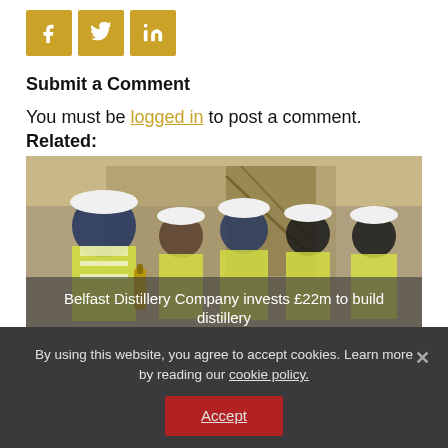[Figure (other): Three social media share buttons: Facebook (f), Twitter (bird), LinkedIn (in) in gold/yellow square icons]
Submit a Comment
You must be logged in to post a comment.
Related:
[Figure (photo): Group of five people in hard hats and high-visibility vests standing inside a building under construction. One person holds a bottle of whiskey. Caption reads: Belfast Distillery Company invests £22m to build distillery]
By using this website, you agree to accept cookies. Learn more by reading our cookie policy.